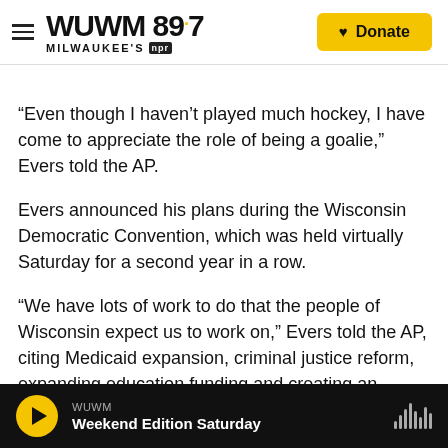WUWM 89.7 MILWAUKEE'S NPR — Donate
“Even though I haven’t played much hockey, I have come to appreciate the role of being a goalie,” Evers told the AP.
Evers announced his plans during the Wisconsin Democratic Convention, which was held virtually Saturday for a second year in a row.
“We have lots of work to do that the people of Wisconsin expect us to work on,” Evers told the AP, citing Medicaid expansion, criminal justice reform, expanding education funding and creating an
WUWM — Weekend Edition Saturday